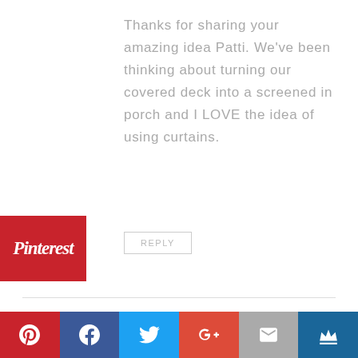Thanks for sharing your amazing idea Patti. We've been thinking about turning our covered deck into a screened in porch and I LOVE the idea of using curtains.
REPLY
Tuesday says
October 31, 2016 at 10:20 am
Patti,
The pipe isn't threaded (only the fittings). Did you have Home Depot thread the pipe for you? Also, did you use the decorative brackets on every corner? I'm trying to figure out how to.